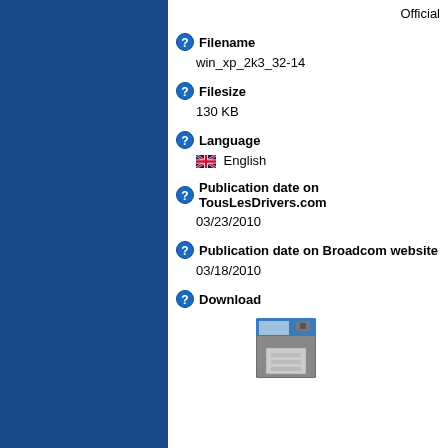Official
Filename
win_xp_2k3_32-14
Filesize
130 KB
Language
English
Publication date on TousLesDrivers.com
03/23/2010
Publication date on Broadcom website
03/18/2010
Download
[Figure (illustration): Floppy disk / save icon]